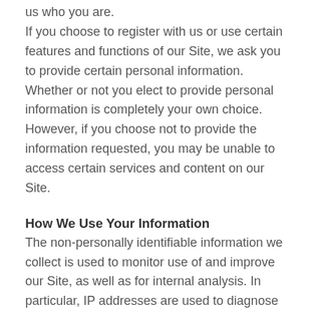us who you are.
If you choose to register with us or use certain features and functions of our Site, we ask you to provide certain personal information. Whether or not you elect to provide personal information is completely your own choice. However, if you choose not to provide the information requested, you may be unable to access certain services and content on our Site.
How We Use Your Information
The non-personally identifiable information we collect is used to monitor use of and improve our Site, as well as for internal analysis. In particular, IP addresses are used to diagnose problems with the server on which this information is stored, analyze trends and statistics, administer our Site, track visitors’ movements, gather information to improve visitors’ online experience, and to facilitate their visit within the Site.
We generally use your personal information for our own